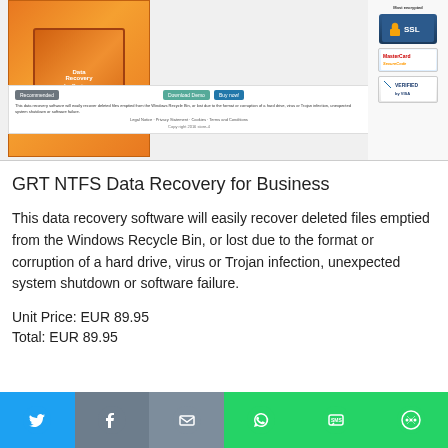[Figure (screenshot): Screenshot of a software product page showing a Data Recovery box product image, download/buy buttons, and trust badges including SSL, MasterCard SecureCode, and Verified by Visa on the right side.]
GRT NTFS Data Recovery for Business
This data recovery software will easily recover deleted files emptied from the Windows Recycle Bin, or lost due to the format or corruption of a hard drive, virus or Trojan infection, unexpected system shutdown or software failure.
Unit Price: EUR 89.95
Total: EUR 89.95
[Figure (infographic): Social sharing bar with icons for Twitter (blue), Facebook (gray), Email (gray), WhatsApp (green), SMS (green), and More (green).]